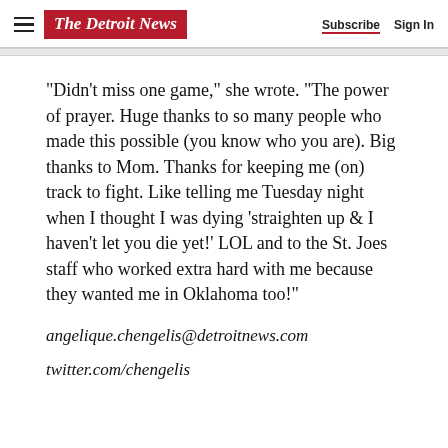The Detroit News  Subscribe  Sign In
“Didn’t miss one game,” she wrote. “The power of prayer. Huge thanks to so many people who made this possible (you know who you are). Big thanks to Mom. Thanks for keeping me (on) track to fight. Like telling me Tuesday night when I thought I was dying ‘straighten up & I haven’t let you die yet!’ LOL and to the St. Joes staff who worked extra hard with me because they wanted me in Oklahoma too!”
angelique.chengelis@detroitnews.com
twitter.com/chengelis